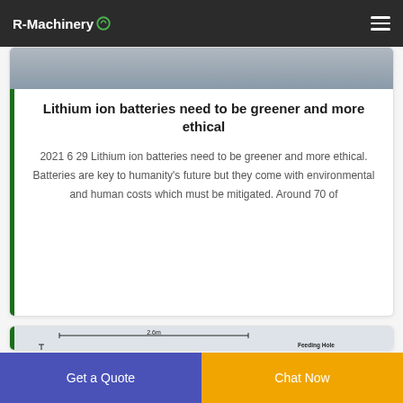R-Machinery
Lithium ion batteries need to be greener and more ethical
2021 6 29 Lithium ion batteries need to be greener and more ethical. Batteries are key to humanity's future but they come with environmental and human costs which must be mitigated. Around 70 of
[Figure (photo): Industrial machinery — main crusher with feeding hole label, dimensions 2.6m width and 2m height shown]
Get a Quote
Chat Now